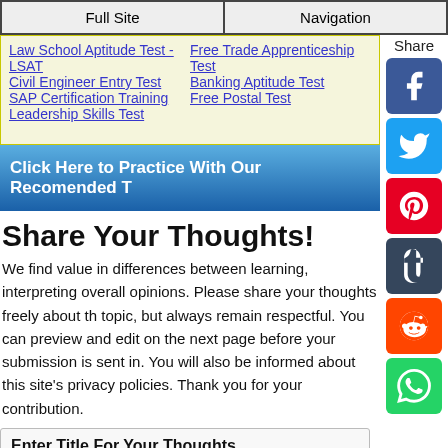Full Site | Navigation
Law School Aptitude Test - LSAT
Free Trade Apprenticeship Test
Civil Engineer Entry Test
Banking Aptitude Test
SAP Certification Training
Free Postal Test
Leadership Skills Test
Click Here to Practice With Our Recomended T
Share Your Thoughts!
We find value in differences between learning, interpreting overall opinions. Please share your thoughts freely about this topic, but always remain respectful. You can preview and edit on the next page before your submission is sent in. You will also be informed about this site's privacy policies. Thank you for your contribution.
Enter Title For Your Thoughts